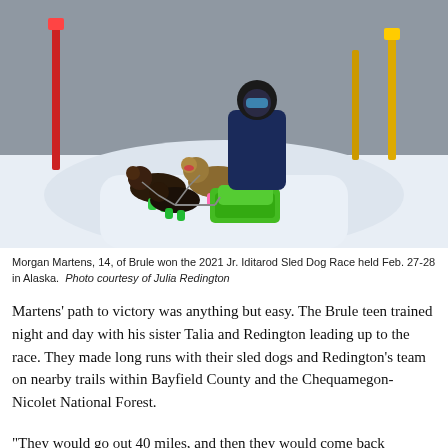[Figure (photo): Dog sled race action photo: a musher in a green sled with 'Matson' bib number 6 rides behind four sled dogs with colorful booties (green and pink) running through a snowy trail lined with red and yellow marker poles, surrounded by snow-covered trees.]
Morgan Martens, 14, of Brule won the 2021 Jr. Iditarod Sled Dog Race held Feb. 27-28 in Alaska.  Photo courtesy of Julia Redington
Martens' path to victory was anything but easy. The Brule teen trained night and day with his sister Talia and Redington leading up to the race. They made long runs with their sled dogs and Redington’s team on nearby trails within Bayfield County and the Chequamegon-Nicolet National Forest.
"They would go out 40 miles, and then they would come back